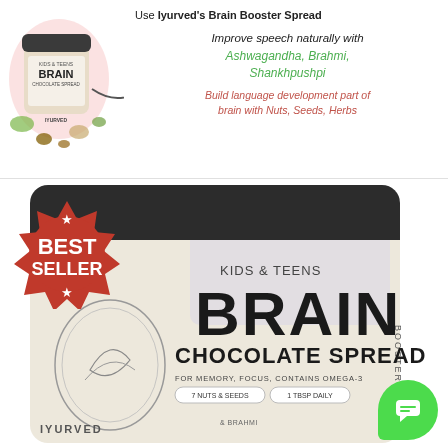[Figure (photo): Top section: small jar of Iyurved Kids & Teens Brain Chocolate Spread product with herbs/nuts/seeds scattered around it, on white background with pink accent]
Use Iyurved's Brain Booster Spread
Improve speech naturally with Ashwagandha, Brahmi, Shankhpushpi
Build language development part of brain with Nuts, Seeds, Herbs
[Figure (photo): Large jar of Iyurved Kids & Teens Brain Booster Chocolate Spread with dark lid, cream/lavender label showing BRAIN in large letters, CHOCOLATE SPREAD, FOR MEMORY, FOCUS, CONTAINS OMEGA-3, 7 NUTS & SEEDS, 1 TBSP DAILY. Best Seller badge in red with stars in top left corner. Green chat bubble icon bottom right.]